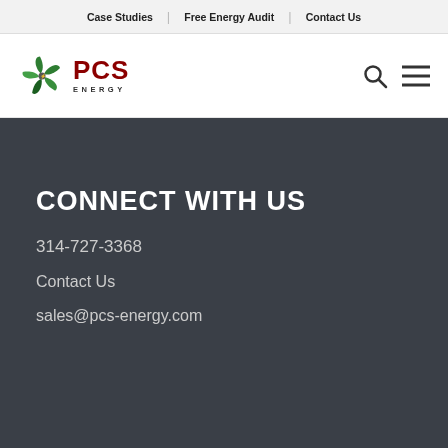Case Studies | Free Energy Audit | Contact Us
[Figure (logo): PCS Energy logo with green pinwheel/fan icon and red PCS text with ENERGY below]
CONNECT WITH US
314-727-3368
Contact Us
sales@pcs-energy.com